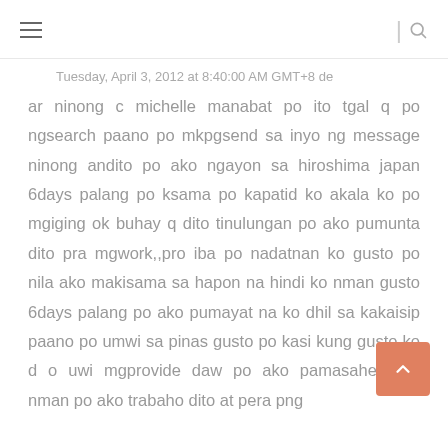≡ | 🔍
Tuesday, April 3, 2012 at 8:40:00 AM GMT+8 de
ar ninong c michelle manabat po ito tgal q po ngsearch paano po mkpgsend sa inyo ng message ninong andito po ako ngayon sa hiroshima japan 6days palang po ksama po kapatid ko akala ko po mgiging ok buhay q dito tinulungan po ako pumunta dito pra mgwork,,pro iba po nadatnan ko gusto po nila ako makisama sa hapon na hindi ko nman gusto 6days palang po ako pumayat na ko dhil sa kakaisip paano po umwi sa pinas gusto po kasi kung gusto ko d o uwi mgprovide daw po ako pamasahe,,wala nman po ako trabaho dito at pera png